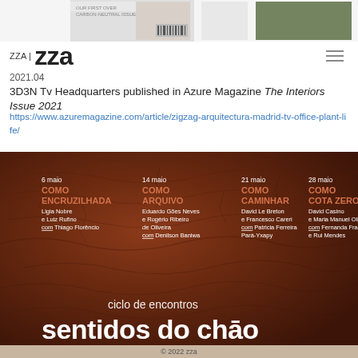[Figure (screenshot): Top header strip showing magazine covers, partially visible]
[Figure (logo): ZZA logo with 'ZZA' text small on left and large 'zza' lettering]
2021.04
3D3N Tv Headquarters published in Azure Magazine The Interiors Issue 2021
https://www.azuremagazine.com/article/zigzag-arquitectura-madrid-tv-office-plant-life/
[Figure (photo): Dark reddish-brown earth/soil background with event schedule overlay. Shows 'ciclo de encontros' and 'sentidos do chão' text. Four columns listing events: 6 maio COMO ENCRUZILHADA (Ligia Nobre e Luiz Rufino com Thiago Florêncio), 14 maio COMO ARQUIVO (Eduardo Gões Neves e Rogério Ribeiro de Oliveira com Denilson Baniwa), 21 maio COMO CAMINHAR (David Le Breton e Francesco Careri com Patricia Ferreira Pará-Yxapy), 28 maio COMO COTA ZERO (David Casino e Maria Manuel Oliveira com Fernanda Fragateiro e Rui Mendes)]
© 2022 zza